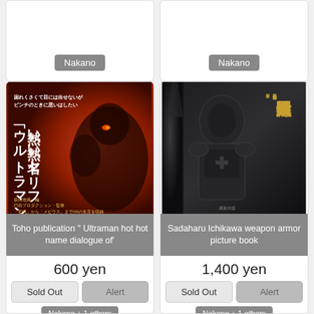[Figure (photo): Top left partial product card showing Nakano location badge]
Nakano
[Figure (photo): Top right partial product card showing Nakano location badge]
Nakano
[Figure (photo): Book cover: Toho publication Ultraman hot hot name dialogue of - Japanese book with red cover featuring Ultraman character]
Toho publication " Ultraman hot hot name dialogue of'
600 yen
Sold Out
Alert
Nakano + 1 others
[Figure (photo): Book cover: Sadaharu Ichikawa weapon armor picture book - dark cover with armored figure]
Sadaharu Ichikawa weapon armor picture book
1,400 yen
Sold Out
Alert
Nakano + 1 others
Also available between 1,400 and